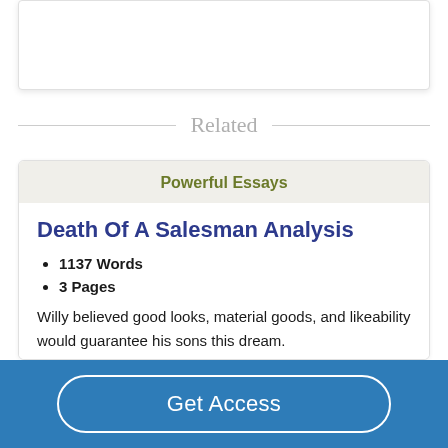Related
Powerful Essays
Death Of A Salesman Analysis
1137 Words
3 Pages
Willy believed good looks, material goods, and likeability would guarantee his sons this dream.
Get Access